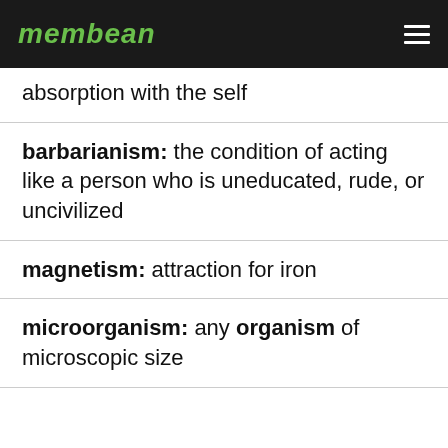membean
absorption with the self
barbarianism: the condition of acting like a person who is uneducated, rude, or uncivilized
magnetism: attraction for iron
microorganism: any organism of microscopic size